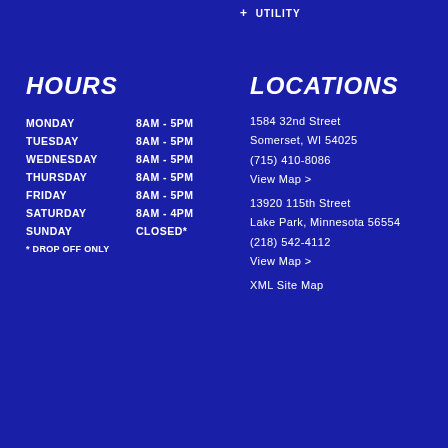+ UTILITY
HOURS
| Day | Hours |
| --- | --- |
| MONDAY | 8AM - 5PM |
| TUESDAY | 8AM - 5PM |
| WEDNESDAY | 8AM - 5PM |
| THURSDAY | 8AM - 5PM |
| FRIDAY | 8AM - 5PM |
| SATURDAY | 8AM - 4PM |
| SUNDAY | CLOSED* |
* DROP OFF ONLY
LOCATIONS
1584 32nd Street
Somerset, WI 54025
(715) 410-8086
View Map >
13920 115th Street
Lake Park, Minnesota 56554
(218) 542-4112
View Map >
XML Site Map